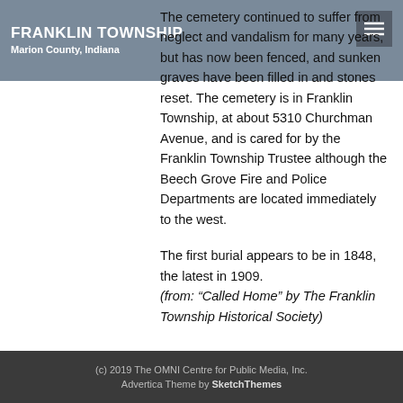FRANKLIN TOWNSHIP
Marion County, Indiana
The cemetery continued to suffer from neglect and vandalism for many years, but has now been fenced, and sunken graves have been filled in and stones reset. The cemetery is in Franklin Township, at about 5310 Churchman Avenue, and is cared for by the Franklin Township Trustee although the Beech Grove Fire and Police Departments are located immediately to the west.
The first burial appears to be in 1848, the latest in 1909.
(from: “Called Home” by The Franklin Township Historical Society)
(c) 2019 The OMNI Centre for Public Media, Inc.
Advertica Theme by SketchThemes